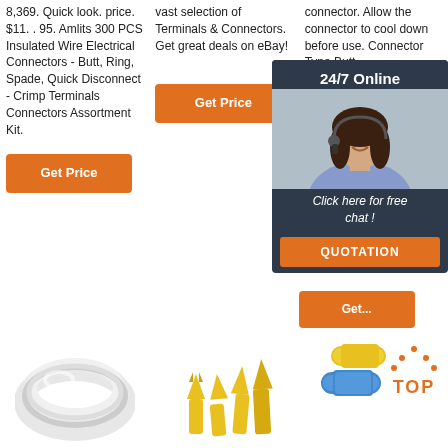8,369. Quick look. price. $11. . 95. Amlits 300 PCS Insulated Wire Electrical Connectors - Butt, Ring, Spade, Quick Disconnect - Crimp Terminals Connectors Assortment Kit.
vast selection of Terminals & Connectors. Get great deals on eBay!
connector. Allow the connector to cool down before use. Connector Type Butt Connector... the shrink... first to... then apply... while... rotating... make... evenly...
[Figure (screenshot): Orange 'Get Price' button in column 2]
[Figure (screenshot): Orange 'Get Price' button in column 1]
[Figure (screenshot): Chat popup overlay with '24/7 Online' header, woman with headset, 'Click here for free chat!' text, and orange QUOTATION button]
[Figure (screenshot): Orange partially visible 'Get Price' button in column 3]
[Figure (photo): Product image: clear/white plastic tubing coil]
[Figure (photo): Product image: yellow insulated fork/spade crimp terminals]
[Figure (photo): Product image: blue and yellow heat shrink butt connectors]
[Figure (logo): TOP badge in orange with dot pattern above text]